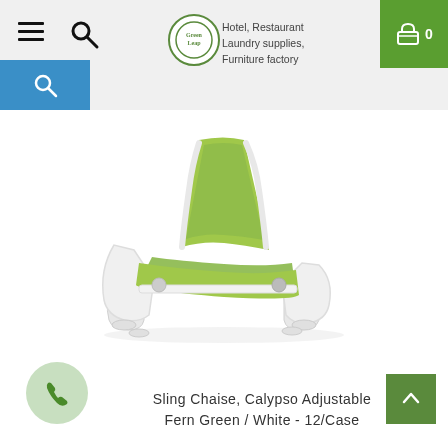Hotel, Restaurant Laundry supplies, Furniture factory
[Figure (photo): A sling chaise lounge chair — Calypso Adjustable model — with olive/fern green fabric sling and white plastic frame, shown at an angle on a white background.]
Sling Chaise, Calypso Adjustable Fern Green / White - 12/Case